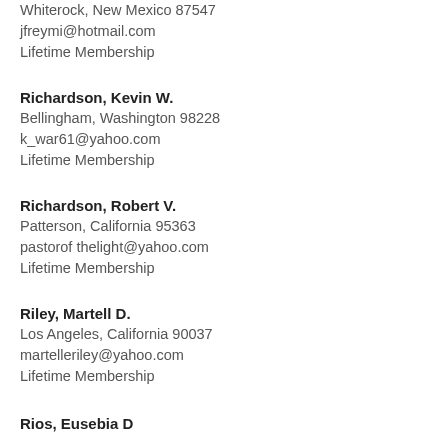Whiterock, New Mexico 87547
jfreymi@hotmail.com
Lifetime Membership
Richardson, Kevin W.
Bellingham, Washington 98228
k_war61@yahoo.com
Lifetime Membership
Richardson, Robert V.
Patterson, California 95363
pastorofthelight@yahoo.com
Lifetime Membership
Riley, Martell D.
Los Angeles, California 90037
martelleriley@yahoo.com
Lifetime Membership
Rios, Eusebia D